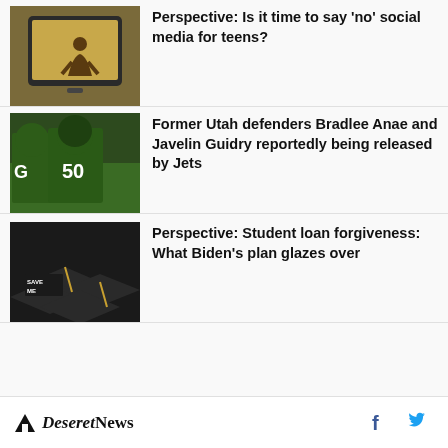[Figure (photo): A smartphone showing a silhouette of a person on screen, olive/brown background]
Perspective: Is it time to say 'no' social media for teens?
[Figure (photo): Football player in green Jets uniform #50 running on field]
Former Utah defenders Bradlee Anae and Javelin Guidry reportedly being released by Jets
[Figure (photo): Graduation caps with one reading 'SAVE ME' in gold letters]
Perspective: Student loan forgiveness: What Biden's plan glazes over
Deseret News